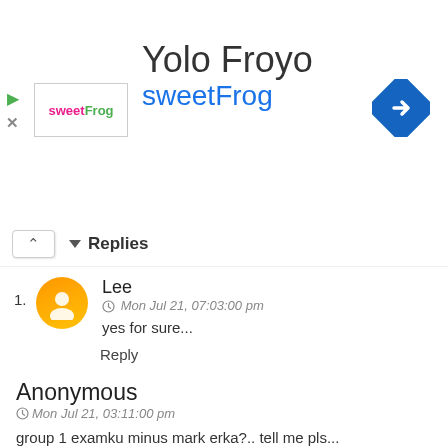[Figure (logo): sweetFrog logo and navigation diamond icon in an ad banner with title 'Yolo Froyo']
Replies
Lee - Mon Jul 21, 07:03:00 pm - yes for sure...
Reply
Anonymous
Mon Jul 21, 03:11:00 pm
group 1 examku minus mark erka?.. tell me pls...
Reply
Replies
Unknown - Mon Jul 21, 05:46:00 pm - No minus mark.. Bro